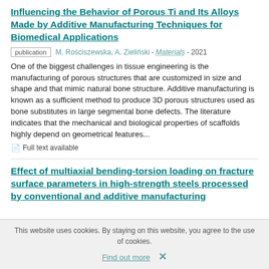Influencing the Behavior of Porous Ti and Its Alloys Made by Additive Manufacturing Techniques for Biomedical Applications
publication  M. Rościszewska, A. Zieliński - Materials - 2021
One of the biggest challenges in tissue engineering is the manufacturing of porous structures that are customized in size and shape and that mimic natural bone structure. Additive manufacturing is known as a sufficient method to produce 3D porous structures used as bone substitutes in large segmental bone defects. The literature indicates that the mechanical and biological properties of scaffolds highly depend on geometrical features...
Full text available
Effect of multiaxial bending-torsion loading on fracture surface parameters in high-strength steels processed by conventional and additive manufacturing
This website uses cookies. By staying on this website, you agree to the use of cookies.
Find out more  ✕